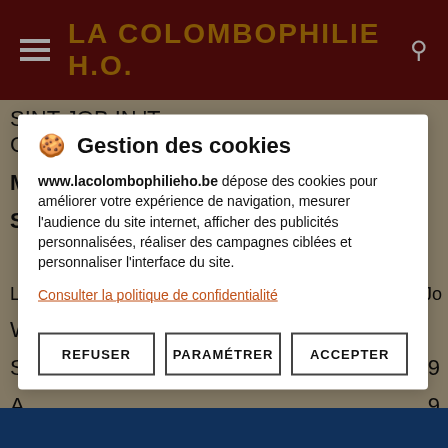LA COLOMBOPHILIE H.O.
| Local | Oude/Vieux | Jaar./Year. | Jo |
| --- | --- | --- | --- |
| SINT JOB IN 'T GOOR | 155 | 218 |  |
| MECHELEN | 51 | 51 |  |
| SCHILDE | 68 | 97 |  |
|  | 746 | 846 |  |
| Local | Oude/Vieux | Jaar./Year. | Jo |
| W |  |  |  |
| S |  |  | 9 |
| A |  |  | 9 |
| R |  |  | 4 |
| G |  |  | 3 |
| K |  |  | 1 |
| R |  |  | 2 |
| W |  |  | 2 |
| K |  |  |  |
🍪 Gestion des cookies
www.lacolombophilieho.be dépose des cookies pour améliorer votre expérience de navigation, mesurer l'audience du site internet, afficher des publicités personnalisées, réaliser des campagnes ciblées et personnaliser l'interface du site.
Consulter la politique de confidentialité
REFUSER | PARAMÉTRER | ACCEPTER